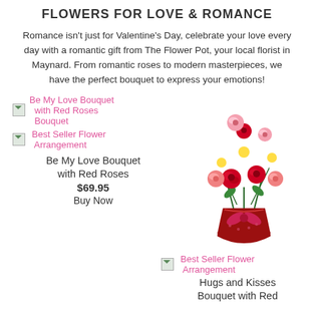FLOWERS FOR LOVE & ROMANCE
Romance isn't just for Valentine's Day, celebrate your love every day with a romantic gift from The Flower Pot, your local florist in Maynard. From romantic roses to modern masterpieces, we have the perfect bouquet to express your emotions!
Be My Love Bouquet with Red Roses Bouquet
Best Seller Flower Arrangement
Be My Love Bouquet with Red Roses
$69.95
Buy Now
[Figure (photo): Floral arrangement: Be My Love Bouquet with Red Roses - red roses, white daisies, pink carnations in a red vase with polka dot ribbon]
Best Seller Flower Arrangement
Hugs and Kisses Bouquet with Red